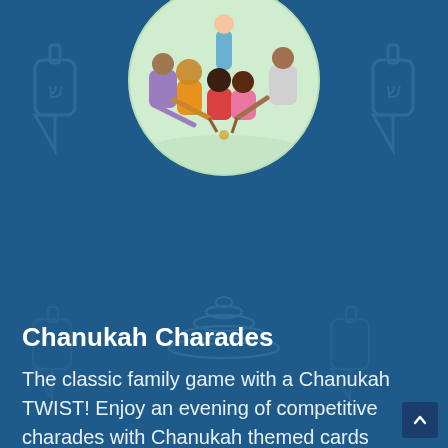[Figure (illustration): Circular illustration showing children sitting in a circle playing a game, viewed from behind, on a light green background. Decorative dreidel and menorah watermarks on the blue background.]
Chanukah Charades
The classic family game with a Chanukah TWIST! Enjoy an evening of competitive charades with Chanukah themed cards